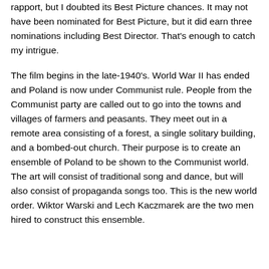rapport, but I doubted its Best Picture chances. It may not have been nominated for Best Picture, but it did earn three nominations including Best Director. That's enough to catch my intrigue.
The film begins in the late-1940's. World War II has ended and Poland is now under Communist rule. People from the Communist party are called out to go into the towns and villages of farmers and peasants. They meet out in a remote area consisting of a forest, a single solitary building, and a bombed-out church. Their purpose is to create an ensemble of Poland to be shown to the Communist world. The art will consist of traditional song and dance, but will also consist of propaganda songs too. This is the new world order. Wiktor Warski and Lech Kaczmarek are the two men hired to construct this ensemble.